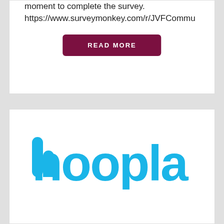moment to complete the survey. https://www.surveymonkey.com/r/JVFCommu
READ MORE
[Figure (logo): hoopla logo in cyan/blue color]